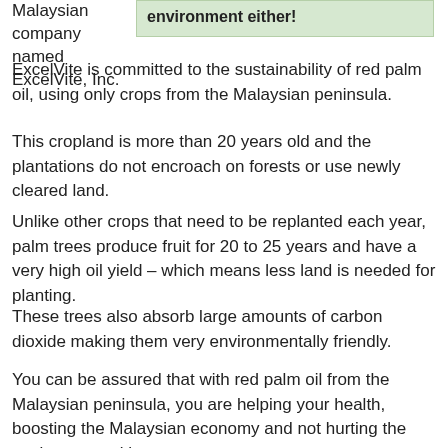Malaysian company named ExcelVite, Inc.
environment either!
ExcelVite is committed to the sustainability of red palm oil, using only crops from the Malaysian peninsula.
This cropland is more than 20 years old and the plantations do not encroach on forests or use newly cleared land.
Unlike other crops that need to be replanted each year, palm trees produce fruit for 20 to 25 years and have a very high oil yield – which means less land is needed for planting.
These trees also absorb large amounts of carbon dioxide making them very environmentally friendly.
You can be assured that with red palm oil from the Malaysian peninsula, you are helping your health, boosting the Malaysian economy and not hurting the environment either.